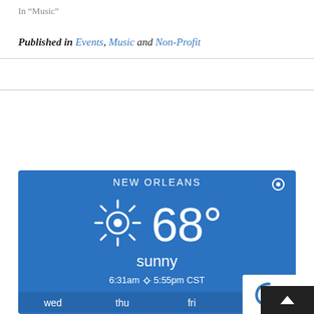In "Music"
Published in Events, Music and Non-Profit
[Figure (infographic): Weather widget showing New Orleans weather: 68 degrees, sunny, sunrise 6:31am sunset 5:55pm CST, with forecast days wed, thu, fri]